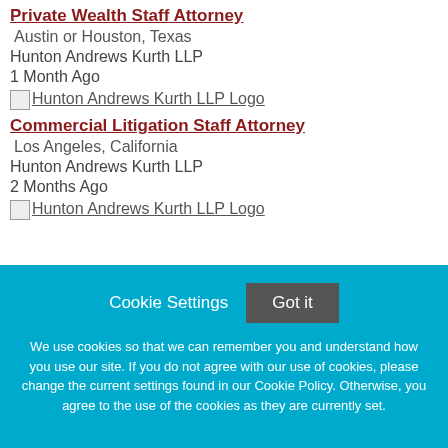Private Wealth Staff Attorney
Austin or Houston, Texas
Hunton Andrews Kurth LLP
1 Month Ago
[Figure (logo): Hunton Andrews Kurth LLP Logo]
Commercial Litigation Staff Attorney
Los Angeles, California
Hunton Andrews Kurth LLP
2 Months Ago
[Figure (logo): Hunton Andrews Kurth LLP Logo]
Cookie Settings  Got it
We use cookies so that we can remember you and understand how you use our site. If you do not agree with our use of cookies, please change the current settings found in our Cookie Policy. Otherwise, you agree to the use of the cookies as they are currently set.